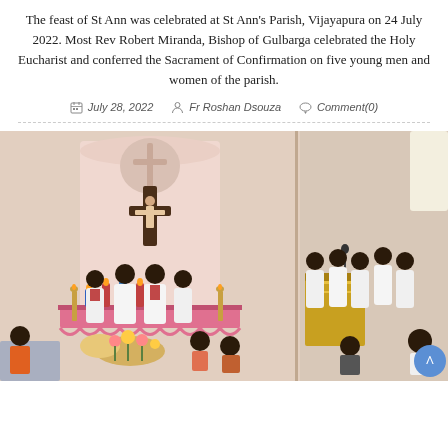The feast of St Ann was celebrated at St Ann's Parish, Vijayapura on 24 July 2022. Most Rev Robert Miranda, Bishop of Gulbarga celebrated the Holy Eucharist and conferred the Sacrament of Confirmation on five young men and women of the parish.
July 28, 2022   Fr Roshan Dsouza   Comment(0)
[Figure (photo): A Catholic Mass celebration inside a church. Priests in white vestments stand at the altar with a large crucifix on the pink wall behind them. A pink-draped altar table is decorated with colorful candles and flowers. On the right side, more clergy stand near a golden pulpit. Congregation members are seated facing the altar.]